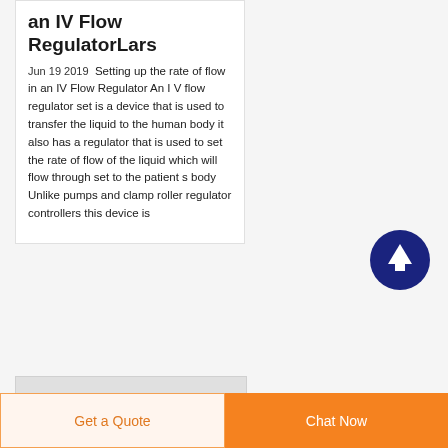an IV Flow RegulatorLars
Jun 19 2019  Setting up the rate of flow in an IV Flow Regulator An I V flow regulator set is a device that is used to transfer the liquid to the human body it also has a regulator that is used to set the rate of flow of the liquid which will flow through set to the patient s body Unlike pumps and clamp roller regulator controllers this device is
[Figure (other): Scroll-to-top circular button with dark navy background and white upward arrow]
Get a Quote   Chat Now